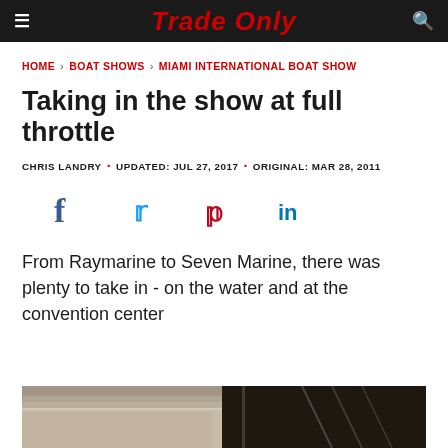Trade Only
HOME > BOAT SHOWS > MIAMI INTERNATIONAL BOAT SHOW
Taking in the show at full throttle
CHRIS LANDRY · UPDATED: JUL 27, 2017 · ORIGINAL: MAR 28, 2011
[Figure (infographic): Social media sharing icons: Facebook, Twitter, Pinterest, LinkedIn]
From Raymarine to Seven Marine, there was plenty to take in - on the water and at the convention center
[Figure (photo): Photo of a boat on display at the Miami International Boat Show convention center, showing the underside of a boat hull with truss structure above]